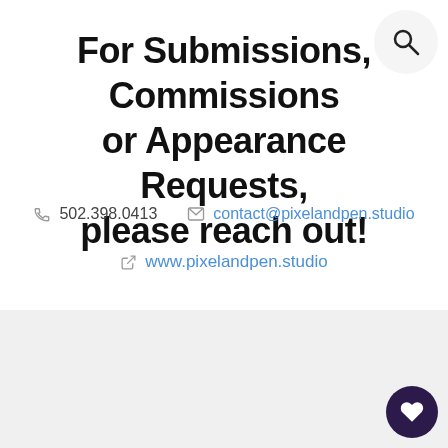For Submissions, Commissions or Appearance Requests, please reach out!
502.398.0413
contact@pixelandpen.studio
www.pixelandpen.studio
Share
Tweet
Pin
The Boring But Important
© Pixel and Pen  •  Cover image by Dustin Lee from Unsplash  •